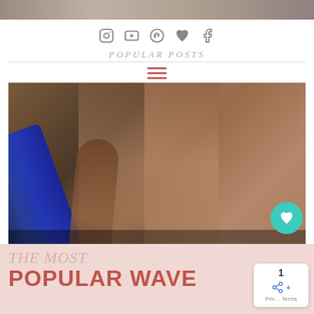[Figure (photo): Top strip photo of hair or related content]
Social media icons row: Instagram, YouTube, Pinterest, Heart, Facebook
POPULAR POSTS
[Figure (photo): Two women demonstrating beach waves hair technique with a blue flat iron. Overlay text reads: THE MOST POPULAR BEACH WAVES ON PINTEREST]
THE MOST POPULAR BEACH WAVES ON PINTEREST
THE MOST POPULAR WAVES